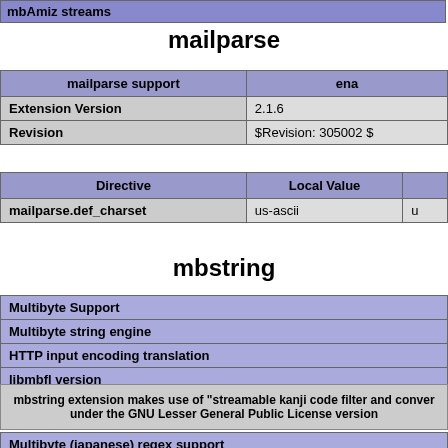mbAmiz streams
mailparse
| mailparse support | ena |
| --- | --- |
| Extension Version | 2.1.6 |
| Revision | $Revision: 305002 $ |
| Directive | Local Value |  |
| --- | --- | --- |
| mailparse.def_charset | us-ascii | u |
mbstring
| Multibyte Support |
| Multibyte string engine |
| HTTP input encoding translation |
| libmbfl version |
mbstring extension makes use of "streamable kanji code filter and conver under the GNU Lesser General Public License version
Multibyte (japanese) regex support